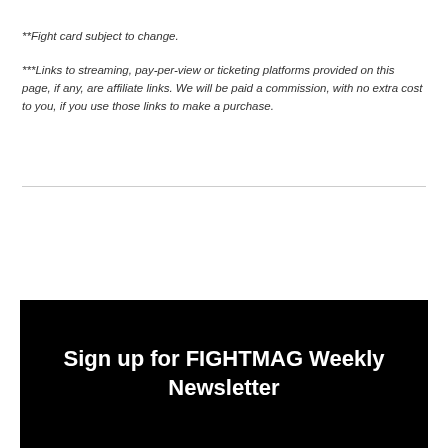**Fight card subject to change.
***Links to streaming, pay-per-view or ticketing platforms provided on this page, if any, are affiliate links. We will be paid a commission, with no extra cost to you, if you use those links to make a purchase.
Sign up for FIGHTMAG Weekly Newsletter